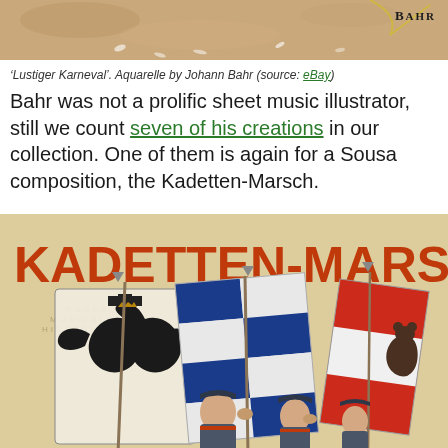[Figure (photo): Top portion of 'Lustiger Karneval' aquarelle by Johann Bahr, showing a painted scene with 'BAHR' signature in top right corner]
'Lustiger Karneval'. Aquarelle by Johann Bahr (source: eBay)
Bahr was not a prolific sheet music illustrator, still we count seven of his creations in our collection. One of them is again for a Sousa composition, the Kadetten-Marsch.
[Figure (photo): Sheet music cover for Kadetten-Marsch showing children in military uniforms holding flags including Prussian eagle flag and Bavarian flag, with 'KADETTEN-MARSCH.' text in large red letters at top. Watermark text 'IMAGES MUSICALES HISTORIES' visible.]